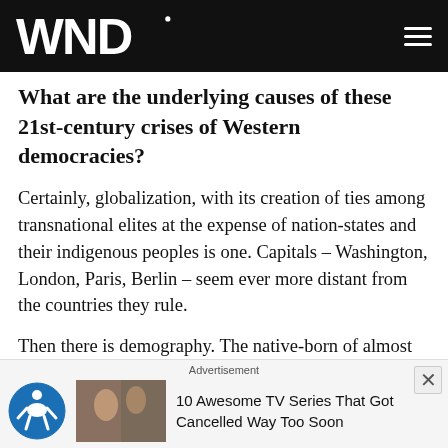WND
What are the underlying causes of these 21st-century crises of Western democracies?
Certainly, globalization, with its creation of ties among transnational elites at the expense of nation-states and their indigenous peoples is one. Capitals – Washington, London, Paris, Berlin – seem ever more distant from the countries they rule.
Then there is demography. The native-born of almost all Western nations are aging, shrinking and dying. Death rates exceed birth rates. While peoples of the West are
Advertisement
10 Awesome TV Series That Got Cancelled Way Too Soon